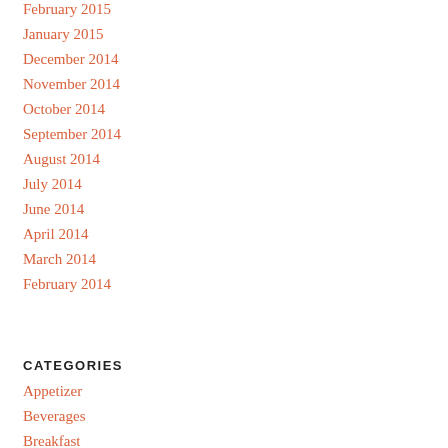February 2015
January 2015
December 2014
November 2014
October 2014
September 2014
August 2014
July 2014
June 2014
April 2014
March 2014
February 2014
CATEGORIES
Appetizer
Beverages
Breakfast